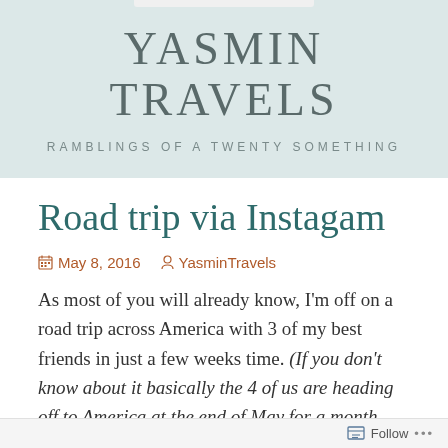YASMIN TRAVELS
RAMBLINGS OF A TWENTY SOMETHING
Road trip via Instagam
May 8, 2016   YasminTravels
As most of you will already know, I'm off on a road trip across America with 3 of my best friends in just a few weeks time. (If you don't know about it basically the 4 of us are heading off to America at the end of May for a month. We're driving from Boston to San Francisco and